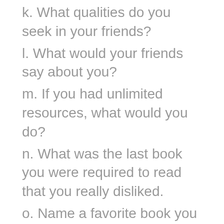k. What qualities do you seek in your friends?
l. What would your friends say about you?
m. If you had unlimited resources, what would you do?
n. What was the last book you were required to read that you really disliked.
o. Name a favorite book you read not for school.
p. What issue do you think is either misinterpreted by the media or not